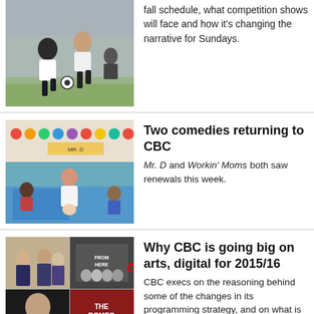[Figure (photo): Soccer players running on a field]
fall schedule, what competition shows will face and how it's changing the narrative for Sundays.
[Figure (photo): Woman sitting on a mat in a classroom with children around her]
Two comedies returning to CBC
Mr. D and Workin' Moms both saw renewals this week.
[Figure (photo): Collage of CBC show images including The Romeo Section and Murdoch Mysteries]
Why CBC is going big on arts, digital for 2015/16
CBC execs on the reasoning behind some of the changes in its programming strategy, and on what is staying the same.